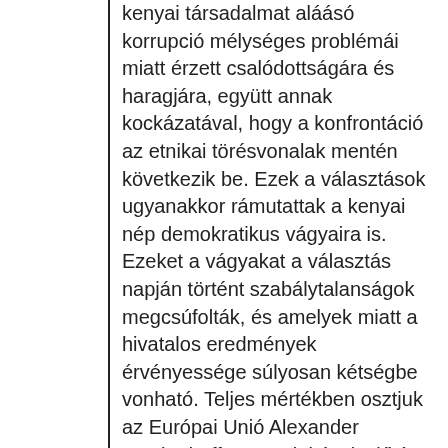kenyai társadalmat aláásó korrupció mélységes problémái miatt érzett csalódottságára és haragjára, együtt annak kockázatával, hogy a konfrontáció az etnikai törésvonalak mentén következik be. Ezek a választások ugyanakkor rámutattak a kenyai nép demokratikus vágyaira is. Ezeket a vágyakat a választás napján történt szabálytalanságok megcsúfolták, és amelyek miatt a hivatalos eredmények érvényessége súlyosan kétségbe vonható. Teljes mértékben osztjuk az Európai Unió Alexander Lambsdorff, az önök képviselőtársa vezette választási megfigyelő missziójának következtetéseit és nyilatkozatait; Lambsdorff úrnak szeretnék őszintén gratulálni kiváló munkájához, és ide vág, hogy az EU-n kívüli nemzetközi hatóságok, amelyek valamelyest kevésbé tapintatlan álláspontból